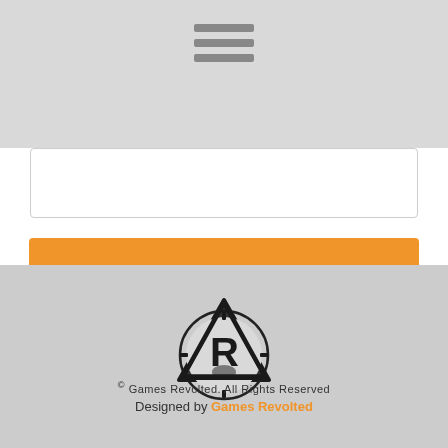[Figure (other): Hamburger menu icon with three horizontal grey bars]
[Figure (other): Empty white text input box]
[Figure (other): Orange button with white uppercase text reading SEND MESSAGE]
[Figure (logo): Games Revolted logo: a dark circular emblem with a triangle, dragon/alien figure, and stylized R letter]
© Games Revolted. All Rights Reserved
Designed by Games Revolted